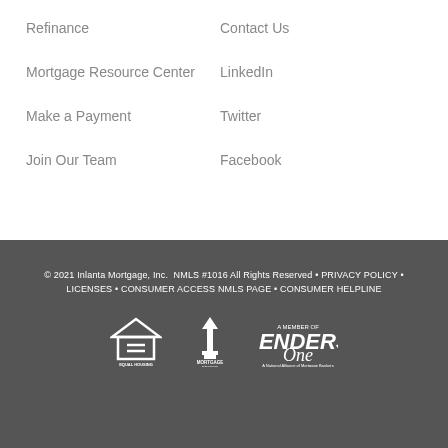Refinance
Contact Us
Mortgage Resource Center
LinkedIn
Make a Payment
Twitter
Join Our Team
Facebook
© 2021 Inlanta Mortgage, Inc. NMLS #1016 All Rights Reserved • PRIVACY POLICY • LICENSES • CONSUMER ACCESS NMLS PAGE • CONSUMER HELPLINE
[Figure (logo): Equal Housing Lender logo]
[Figure (logo): Mortgage Bankers Association Member logo]
[Figure (logo): A Member of Lenders One logo]